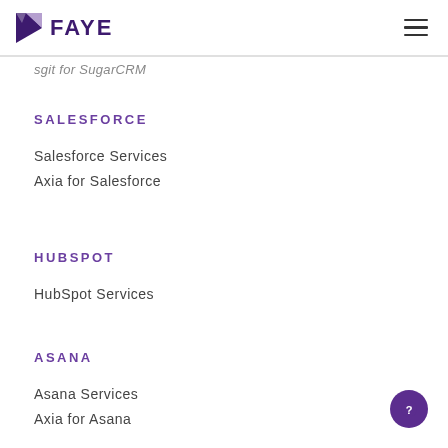FAYE
sgit for SugarCRM
SALESFORCE
Salesforce Services
Axia for Salesforce
HUBSPOT
HubSpot Services
ASANA
Asana Services
Axia for Asana